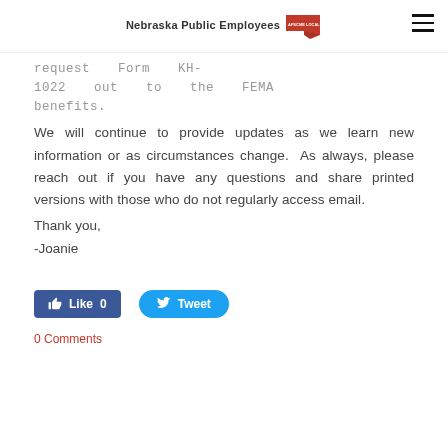Nebraska Public Employees
request Form KH-1022 out to the FEMA benefits.
We will continue to provide updates as we learn new information or as circumstances change.  As always, please reach out if you have any questions and share printed versions with those who do not regularly access email.
Thank you,
-Joanie
[Figure (other): Facebook Like button showing 'Like 0' and Twitter Tweet button]
0 Comments